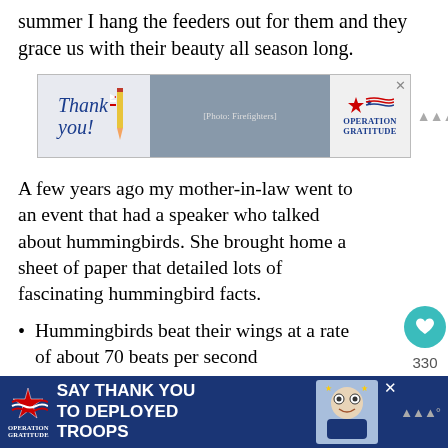summer I hang the feeders out for them and they grace us with their beauty all season long.
[Figure (photo): Advertisement banner for Operation Gratitude showing firefighters and a 'Thank you!' message with pencil graphic and American flag motif.]
A few years ago my mother-in-law went to an event that had a speaker who talked about hummingbirds. She brought home a sheet of paper that detailed lots of fascinating hummingbird facts.
Hummingbirds beat their wings at a rate of about 70 beats per second
They eat an average of 7 times per hour.
Hummingbird feet are only used for perching, not hopping or walking.
A hummingbird can visit up to 1,000 flowers
[Figure (photo): Footer advertisement for Operation Gratitude: 'SAY THANK YOU TO DEPLOYED TROOPS' with logo and cartoon mascot.]